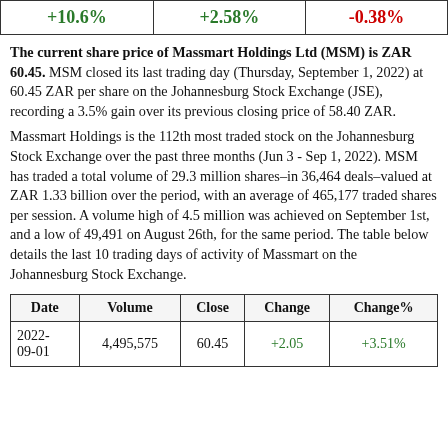|  |  |  |
| --- | --- | --- |
| +10.6% | +2.58% | -0.38% |
The current share price of Massmart Holdings Ltd (MSM) is ZAR 60.45. MSM closed its last trading day (Thursday, September 1, 2022) at 60.45 ZAR per share on the Johannesburg Stock Exchange (JSE), recording a 3.5% gain over its previous closing price of 58.40 ZAR.
Massmart Holdings is the 112th most traded stock on the Johannesburg Stock Exchange over the past three months (Jun 3 - Sep 1, 2022). MSM has traded a total volume of 29.3 million shares–in 36,464 deals–valued at ZAR 1.33 billion over the period, with an average of 465,177 traded shares per session. A volume high of 4.5 million was achieved on September 1st, and a low of 49,491 on August 26th, for the same period. The table below details the last 10 trading days of activity of Massmart on the Johannesburg Stock Exchange.
| Date | Volume | Close | Change | Change% |
| --- | --- | --- | --- | --- |
| 2022-09-01 | 4,495,575 | 60.45 | +2.05 | +3.51% |